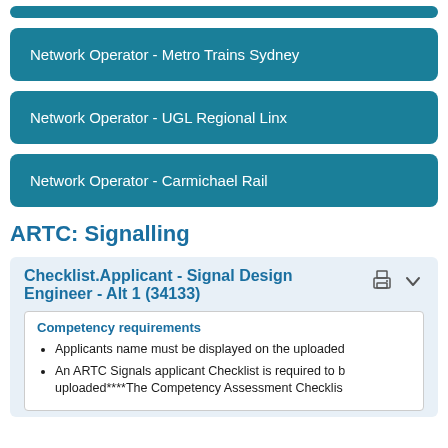Network Operator - Metro Trains Sydney
Network Operator - UGL Regional Linx
Network Operator - Carmichael Rail
ARTC: Signalling
Checklist.Applicant - Signal Design Engineer - Alt 1 (34133)
Competency requirements
Applicants name must be displayed on the uploaded
An ARTC Signals applicant Checklist is required to b uploaded****The Competency Assessment Checklis